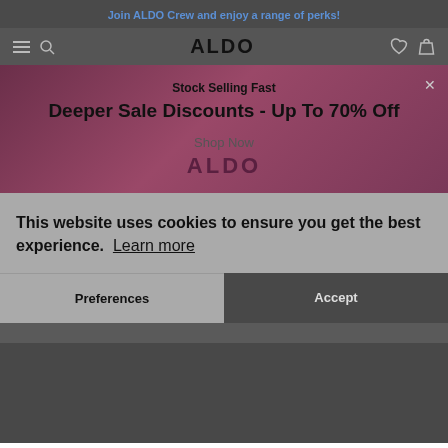Join ALDO Crew and enjoy a range of perks!
[Figure (screenshot): ALDO website navigation bar with hamburger menu, search icon, ALDO logo, heart icon, and shopping bag icon]
Stock Selling Fast
Deeper Sale Discounts - Up To 70% Off
Shop Now
[Figure (logo): ALDO logo in dark purple text]
Home › Capitao
This website uses cookies to ensure you get the best experience. Learn more
Preferences
Accept